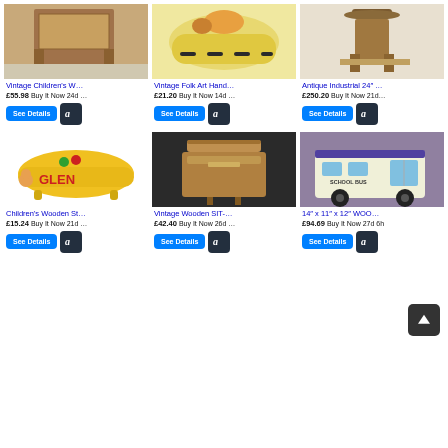[Figure (screenshot): E-commerce product listing grid showing 6 wooden children's furniture/toy items with prices, Buy It Now labels, See Details buttons, and Amazon buttons. Items: Vintage Children's W... £55.98, Vintage Folk Art Hand... £21.20, Antique Industrial 24"... £250.20, Children's Wooden St... £15.24, Vintage Wooden SIT-... £42.40, 14" x 11" x 12" WOO... £94.69]